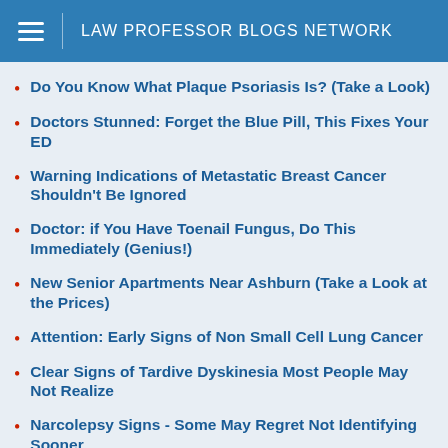LAW PROFESSOR BLOGS NETWORK
Do You Know What Plaque Psoriasis Is? (Take a Look)
Doctors Stunned: Forget the Blue Pill, This Fixes Your ED
Warning Indications of Metastatic Breast Cancer Shouldn't Be Ignored
Doctor: if You Have Toenail Fungus, Do This Immediately (Genius!)
New Senior Apartments Near Ashburn (Take a Look at the Prices)
Attention: Early Signs of Non Small Cell Lung Cancer
Clear Signs of Tardive Dyskinesia Most People May Not Realize
Narcolepsy Signs - Some May Regret Not Identifying Sooner
Actual Dental Implants Cost in 2022
Critical Signs of Multiple Sclerosis (MS) Many May Not Want to Miss